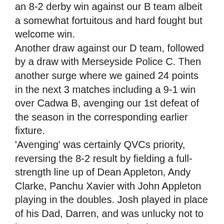an 8-2 derby win against our B team albeit a somewhat fortuitous and hard fought but welcome win. Another draw against our D team, followed by a draw with Merseyside Police C. Then another surge where we gained 24 points in the next 3 matches including a 9-1 win over Cadwa B, avenging our 1st defeat of the season in the corresponding earlier fixture. 'Avenging' was certainly QVCs priority, reversing the 8-2 result by fielding a full-strength line up of Dean Appleton, Andy Clarke, Panchu Xavier with John Appleton playing in the doubles. Josh played in place of his Dad, Darren, and was unlucky not to beat Dean as was Dave, but there was some consolation, as Ted beat Dean (3 straight) and Ted and Dave won the doubles. It looked inevitable, that 3rd would be the highest position we could finish and as all results went to form and calibre, so it proved. It remains to be seen if.